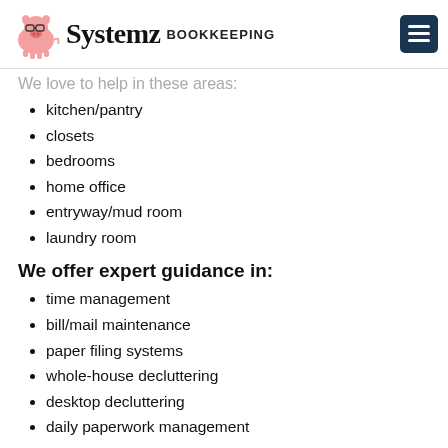Systemz BOOKKEEPING
We love to help in these areas:
kitchen/pantry
closets
bedrooms
home office
entryway/mud room
laundry room
We offer expert guidance in:
time management
bill/mail maintenance
paper filing systems
whole-house decluttering
desktop decluttering
daily paperwork management
Call us at (904) 923-1634 or Contact Us for